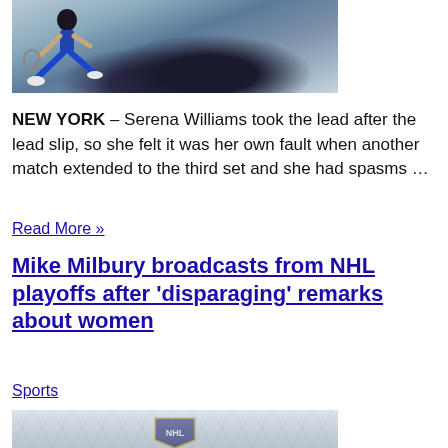[Figure (photo): Tennis player in blue shorts lunging low on a hard court surface]
NEW YORK – Serena Williams took the lead after the lead slip, so she felt it was her own fault when another match extended to the third set and she had spasms …
Read More »
Mike Milbury broadcasts from NHL playoffs after 'disparaging' remarks about women
Sports
[Figure (photo): NHL hockey goal net close-up with NHL logo/puck visible]